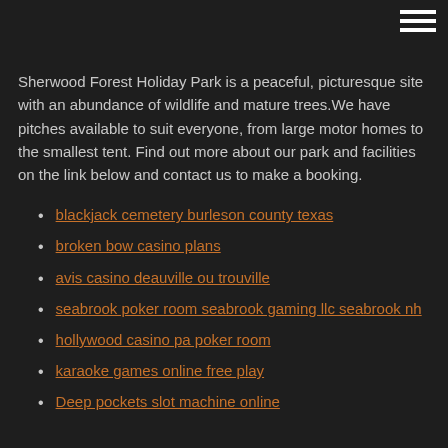Sherwood Forest Holiday Park is a peaceful, picturesque site with an abundance of wildlife and mature trees.We have pitches available to suit everyone, from large motor homes to the smallest tent. Find out more about our park and facilities on the link below and contact us to make a booking.
blackjack cemetery burleson county texas
broken bow casino plans
avis casino deauville ou trouville
seabrook poker room seabrook gaming llc seabrook nh
hollywood casino pa poker room
karaoke games online free play
Deep pockets slot machine online